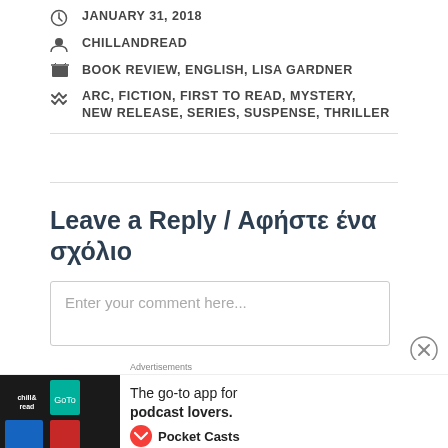JANUARY 31, 2018
CHILLANDREAD
BOOK REVIEW, ENGLISH, LISA GARDNER
ARC, FICTION, FIRST TO READ, MYSTERY, NEW RELEASE, SERIES, SUSPENSE, THRILLER
Leave a Reply / Αφήστε ένα σχόλιο
Enter your comment here...
[Figure (other): Advertisement banner for Pocket Casts: 'The go-to app for podcast lovers.' with colorful tile logo]